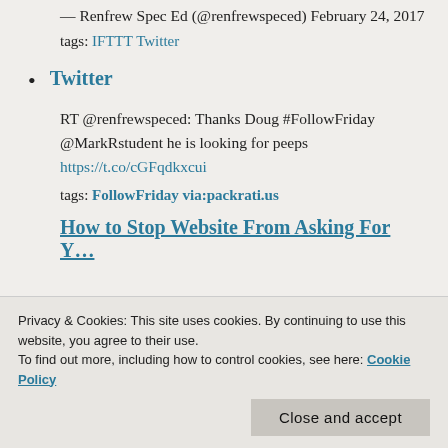— Renfrew Spec Ed (@renfrewspeced) February 24, 2017
tags: IFTTT Twitter
Twitter
RT @renfrewspeced: Thanks Doug #FollowFriday @MarkRstudent he is looking for peeps https://t.co/cGFqdkxcui
tags: FollowFriday via:packrati.us
How to Stop Website From Asking For Y…
Privacy & Cookies: This site uses cookies. By continuing to use this website, you agree to their use. To find out more, including how to control cookies, see here: Cookie Policy